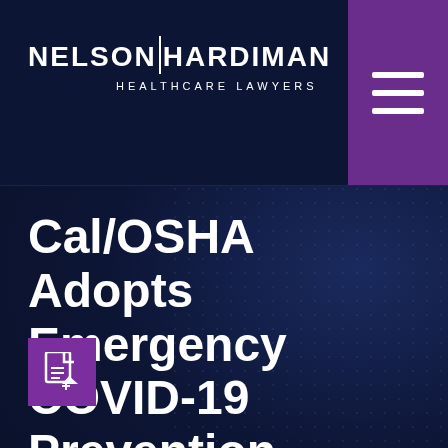[Figure (logo): Nelson Hardiman Healthcare Lawyers logo in white text on dark navy background, with a purple hamburger menu icon in top right corner]
Cal/OSHA Adopts Emergency COVID-19 Prevention Regulation
[Figure (other): Purple PDF icon box in bottom left corner]